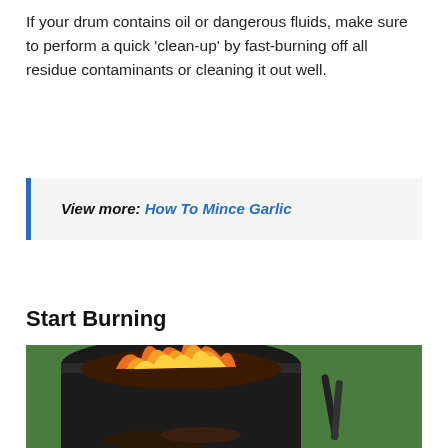If your drum contains oil or dangerous fluids, make sure to perform a quick ‘clean-up’ by fast-burning off all residue contaminants or cleaning it out well.
View more: How To Mince Garlic
Start Burning
[Figure (photo): A black metal drum/barrel with fire and flames burning inside it on green grass, with tongs visible on the right side.]